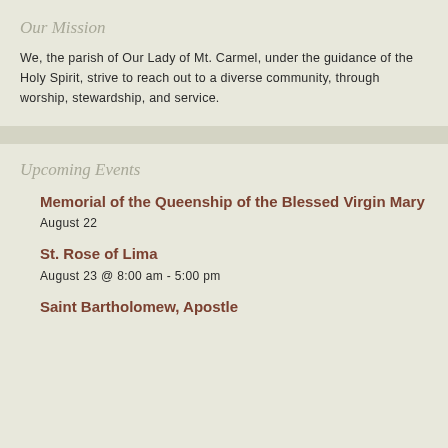Our Mission
We, the parish of Our Lady of Mt. Carmel, under the guidance of the Holy Spirit, strive to reach out to a diverse community, through worship, stewardship, and service.
Upcoming Events
Memorial of the Queenship of the Blessed Virgin Mary
August 22
St. Rose of Lima
August 23 @ 8:00 am - 5:00 pm
Saint Bartholomew, Apostle